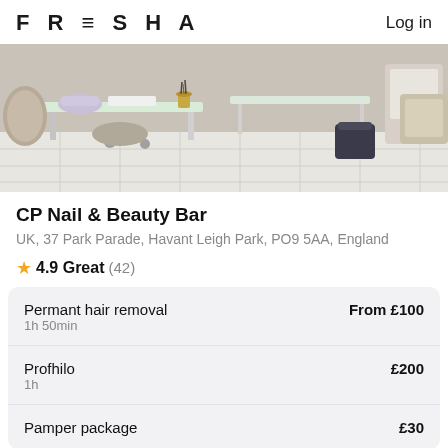FRESHA   Log in
[Figure (photo): Interior photo of CP Nail & Beauty Bar showing white manicure tables with glass tops, a UV lamp, small gold planter, rolling chairs, and white tile flooring]
CP Nail & Beauty Bar
UK, 37 Park Parade, Havant Leigh Park, PO9 5AA, England
⭐ 4.9 Great (42)
| Service | Price |
| --- | --- |
| Permant hair removal
1h 50min | From £100 |
| Profhilo
1h | £200 |
| Pamper package | £30 |